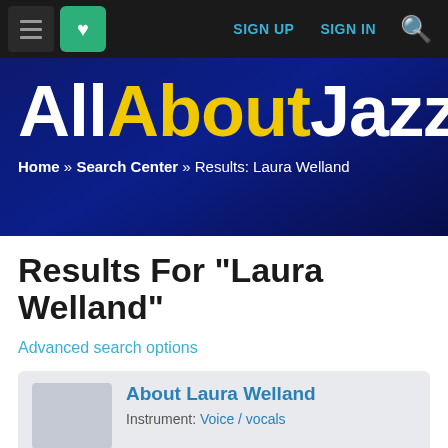SIGN UP  SIGN IN
[Figure (screenshot): AllAboutJazz website logo banner on dark blue background with breadcrumb navigation: Home » Search Center » Results: Laura Welland]
Results For "Laura Welland"
Advanced search options
About Laura Welland
Instrument: Voice / vocals